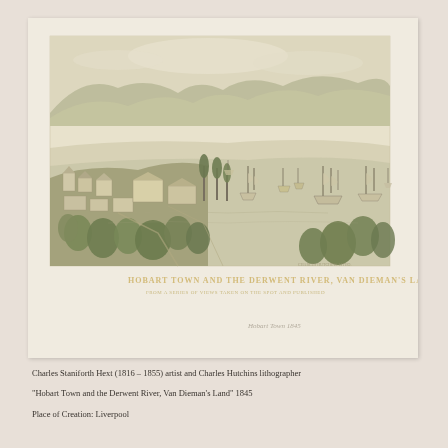[Figure (illustration): A 19th century lithograph depicting Hobart Town and the Derwent River, Van Dieman's Land, 1845. Bird's-eye view of a colonial harbour town with sailing ships on the water, buildings on shore, hills in the background. Text inscribed on the print reads 'HOBART TOWN AND THE DERWENT RIVER, VAN DIEMAN'S LAND' with a subtitle line below. A cursive inscription appears in the lower right of the mat.]
Charles Staniforth Hext (1816 – 1855) artist and Charles Hutchins lithographer
"Hobart Town and the Derwent River, Van Dieman's Land" 1845
Place of Creation: Liverpool